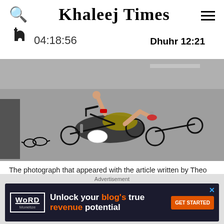Khaleej Times
Dhuhr 12:21
04:18:56
[Figure (photo): Cyclist crash scene: a cyclist in yellow and black kit has fallen on a road surface, bicycle wheels visible, hand raised in air, debris scattered around.]
The photograph that appeared with the article written by Theo Bos in Cycling Weekly.
Abu Dhabi - In an article he wrote for the UK's Cycling Weekly, Theo Bos recalled the help
Advertisement
[Figure (infographic): Advertisement banner for Word Monetize: 'Unlock your blog's true revenue potential' with GET STARTED button.]